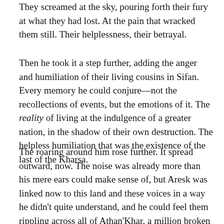They screamed at the sky, pouring forth their fury at what they had lost. At the pain that wracked them still. Their helplessness, their betrayal.
Then he took it a step further, adding the anger and humiliation of their living cousins in Sifan. Every memory he could conjure—not the recollections of events, but the emotions of it. The reality of living at the indulgence of a greater nation, in the shadow of their own destruction. The helpless humiliation that was the existence of the last of the Kharsa.
The roaring around him rose further. It spread outward, now. The noise was already more than his mere ears could make sense of, but Aresk was linked now to this land and these voices in a way he didn't quite understand, and he could feel them rippling across all of Athan'Khar, a million broken horrors screaming in unison. They would hear this in Viridill and N'Jendo.